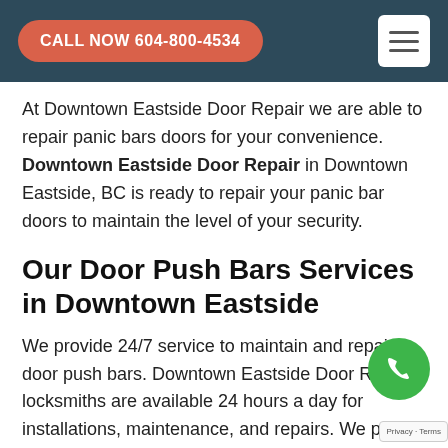CALL NOW 604-800-4534
At Downtown Eastside Door Repair we are able to repair panic bars doors for your convenience. Downtown Eastside Door Repair in Downtown Eastside, BC is ready to repair your panic bar doors to maintain the level of your security.
Our Door Push Bars Services in Downtown Eastside
We provide 24/7 service to maintain and repair door push bars. Downtown Eastside Door Repair locksmiths are available 24 hours a day for installations, maintenance, and repairs. We pride ourselves on the quality of our work. At Downtown Eastside Door Repair we can repair